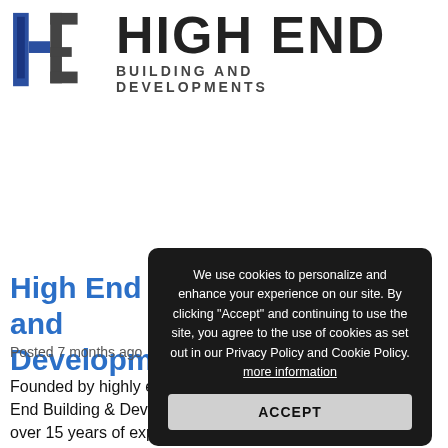[Figure (logo): High End Building and Developments logo with stylized HE monogram in blue/grey and bold text]
High End Building and Developments
Posted 7 months ago
Founded by highly experienced Johnbean Bielecki, High-End Building & Developments leading professionals with over 15 years of experience offering...
We use cookies to personalize and enhance your experience on our site. By clicking "Accept" and continuing to use the site, you agree to the use of cookies as set out in our Privacy Policy and Cookie Policy. more information ACCEPT